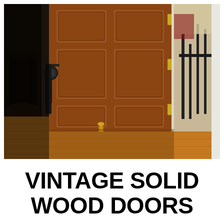[Figure (photo): Photograph of a vintage solid wood six-panel interior door, medium brown oak finish, partially open. A decorative brass door stop is visible on the hardwood floor at the base of the door. A black round door knob and lever handle are on the left side. Through the open door, a porch railing and outdoor scene are visible on the right. The interior shows hardwood floors and a glimpse of a dining room with chairs on the left.]
VINTAGE SOLID WOOD DOORS